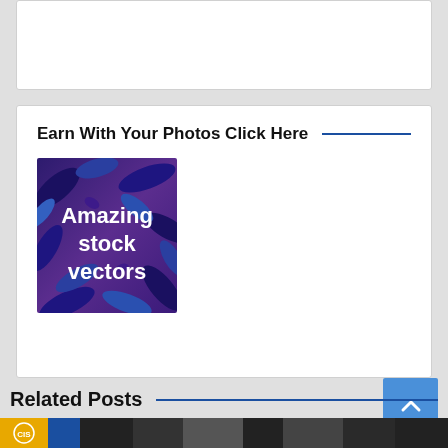[Figure (other): White card/box at top, partially visible]
Earn With Your Photos Click Here
[Figure (illustration): Purple tropical leaves background with bold white text reading 'Amazing stock vectors']
[Figure (other): Blue scroll-to-top button with up arrow chevron]
Related Posts
[Figure (photo): Partial thumbnail images at bottom — left has gold/blue colors, right is black and white photo]